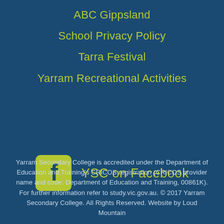ABC Gippsland
School Privacy Policy
Tarra Festival
Yarram Recreational Activities
[Figure (logo): Facebook logo icon (olive/yellow-green square with rounded corners and white 'f' letter) next to text 'YSC on Facebook']
YSC on Facebook
Yarram Secondary College is accredited under the Department of Education and Training's CRICOS registration (CRICOS provider name and code: Department of Education and Training, 00861K). For further information refer to study.vic.gov.au. © 2017 Yarram Secondary College. All Rights Reserved. Website by Loud Mountain